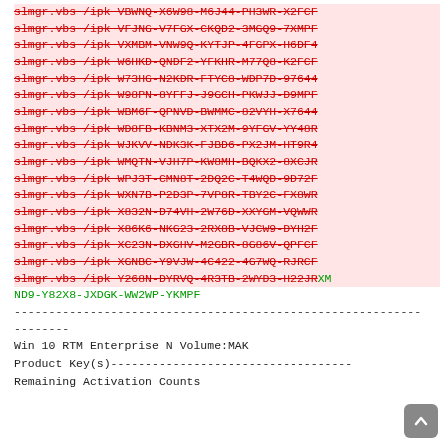slmgr.vbs /ipk VBWNQ-X6W98-M6J44-PH3WR-X2FCF (strikethrough)
slmgr.vbs /ipk VFJNG-V7FGX-CKQD2-3MGQ9-7XMPF (strikethrough)
slmgr.vbs /ipk VXMBM-VNW9Q-KYTJP-4FGPX-H6DF4 (strikethrough)
slmgr.vbs /ipk W6HKD-QNDF2-YFKHR-M77Q8-K2FCF (strikethrough)
slmgr.vbs /ipk W73HG-N2KDR-FTYC8-WDP7D-97644 (strikethrough)
slmgr.vbs /ipk W98PN-8YFFJ-J9GCH-PKWJJ-D9MPF (strikethrough)
slmgr.vbs /ipk WBM6F-QPNVD-BWMMC-82VYH-X7644 (strikethrough)
slmgr.vbs /ipk WD8FB-KBNM3-XTX2M-9YFGV-YY48R (strikethrough)
slmgr.vbs /ipk WJKVV-NDK3K-FJBD6-PX2JM-HT9R4 (strikethrough)
slmgr.vbs /ipk WMQTN-VJH7P-KW8MH-BQKX2-8XCJR (strikethrough)
slmgr.vbs /ipk WPJ3T-CMN8T-2DQ2C-T4WQD-9D72F (strikethrough)
slmgr.vbs /ipk WXN7B-P2D3P-7VP8R-TBY2C-FX8WR (strikethrough)
slmgr.vbs /ipk X832N-D74VH-2W76D-XXYGM-VQWWR (strikethrough)
slmgr.vbs /ipk X86K6-NKG23-2RX8B-VJCW9-DYH2F (strikethrough)
slmgr.vbs /ipk XC23N-DXGHV-M2GBR-8G86V-QPFCF (strikethrough)
slmgr.vbs /ipk XGNBC-Y9VJW-4C422-4G7WQ-RJRCF (strikethrough)
slmgr.vbs /ipk Y268N-DYRVQ-4R3TB-2WYD3-H22JRXMND9-Y82X8-JXDGK-WW2WP-YKMPF (mixed: red strikethrough + green)
-----------------------------------------------------------
--------
Win 10 RTM Enterprise N Volume:MAK
Product Key(s)-----------------------------------
Remaining Activation Counts